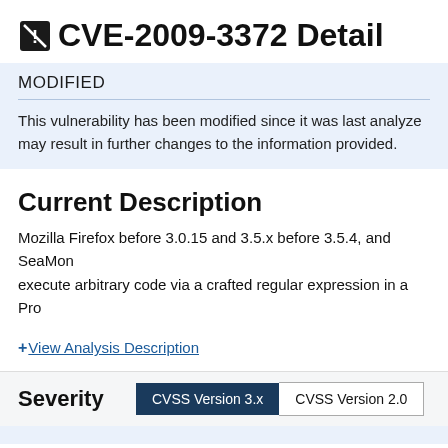CVE-2009-3372 Detail
MODIFIED
This vulnerability has been modified since it was last analyzed. may result in further changes to the information provided.
Current Description
Mozilla Firefox before 3.0.15 and 3.5.x before 3.5.4, and SeaMon... execute arbitrary code via a crafted regular expression in a Pro...
+ View Analysis Description
| Severity | CVSS Version 3.x | CVSS Version 2.0 |
| --- | --- | --- |